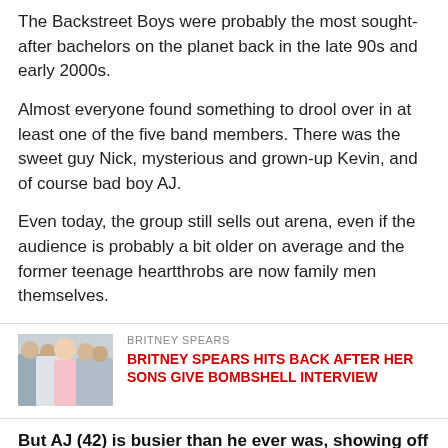The Backstreet Boys were probably the most sought-after bachelors on the planet back in the late 90s and early 2000s.
Almost everyone found something to drool over in at least one of the five band members. There was the sweet guy Nick, mysterious and grown-up Kevin, and of course bad boy AJ.
Even today, the group still sells out arena, even if the audience is probably a bit older on average and the former teenage heartthrobs are now family men themselves.
[Figure (photo): Thumbnail image of people including Britney Spears]
BRITNEY SPEARS
BRITNEY SPEARS HITS BACK AFTER HER SONS GIVE BOMBSHELL INTERVIEW
But AJ (42) is busier than he ever was, showing off his dance moves and his feminine side on ABC's Dancing with the Stars (DWTS).